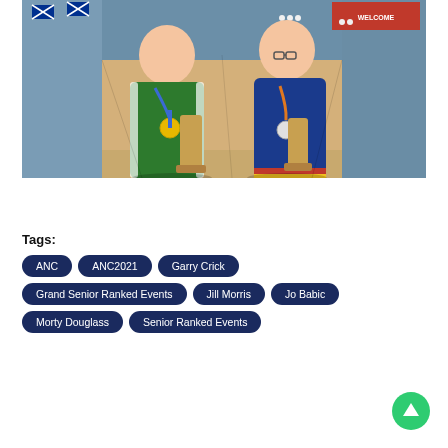[Figure (photo): Two bowlers wearing medals and holding trophies, standing in a bowling alley decorated with Australian flags and a welcome sign. The man on the left wears a green jacket; the woman on the right wears a blue jacket.]
Tags:
ANC
ANC2021
Garry Crick
Grand Senior Ranked Events
Jill Morris
Jo Babic
Morty Douglass
Senior Ranked Events